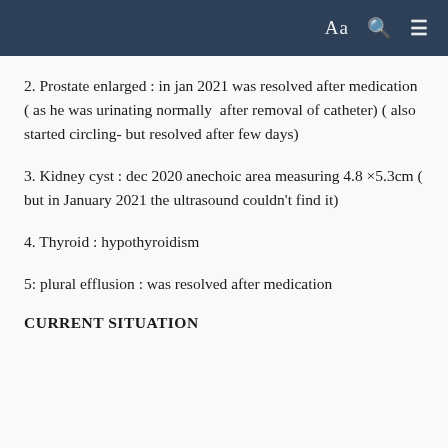Aa 🔍 ≡
2. Prostate enlarged : in jan 2021 was resolved after medication ( as he was urinating normally  after removal of catheter) ( also started circling- but resolved after few days)
3. Kidney cyst : dec 2020 anechoic area measuring 4.8 ×5.3cm ( but in January 2021 the ultrasound couldn't find it)
4. Thyroid : hypothyroidism
5: plural efflusion : was resolved after medication
CURRENT SITUATION